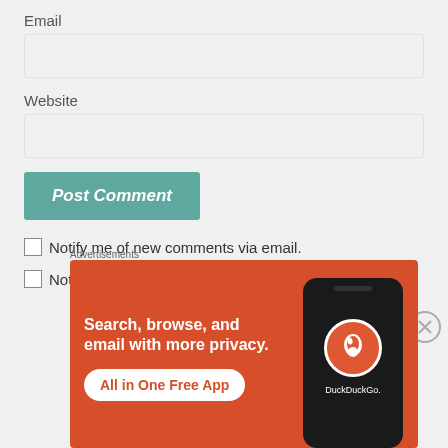Email
Website
Post Comment
Notify me of new comments via email.
Notify me of new posts via email.
Advertisements
[Figure (screenshot): DuckDuckGo advertisement banner with orange background. Text reads: Search, browse, and email with more privacy. All in One Free App. Shows a phone with DuckDuckGo logo.]